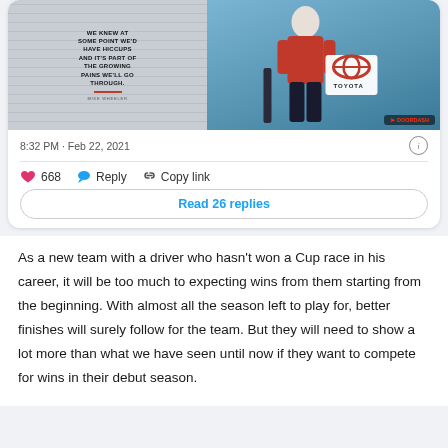[Figure (screenshot): Screenshot of a tweet embedded in an article. Shows a split image with a quote on the left ('WE KNEW AT SOME POINT WE'D HAVE HICCUPS AND IT'S PART OF THE GROWING PAINS WE'LL GO THROUGH.' attributed to MIKE WHEELER) and a photo of a person in a red shirt next to a Toyota sign on the right. Below the image: timestamp '8:32 PM · Feb 22, 2021', interaction icons (668 likes, Reply, Copy link), and a 'Read 26 replies' button.]
As a new team with a driver who hasn't won a Cup race in his career, it will be too much to expecting wins from them starting from the beginning. With almost all the season left to play for, better finishes will surely follow for the team. But they will need to show a lot more than what we have seen until now if they want to compete for wins in their debut season.